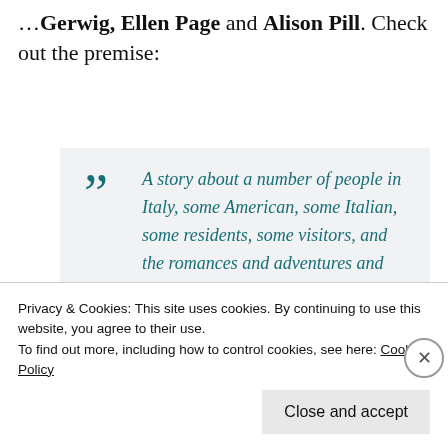Gerwig, Ellen Page and Alison Pill. Check out the premise:
A story about a number of people in Italy, some American, some Italian, some residents, some visitors, and the romances and adventures and predicaments they get into.
Privacy & Cookies: This site uses cookies. By continuing to use this website, you agree to their use. To find out more, including how to control cookies, see here: Cookie Policy
Close and accept